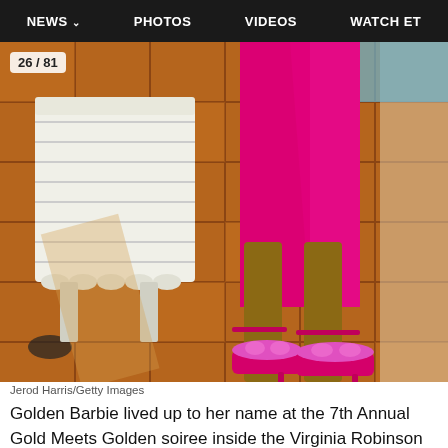NEWS  PHOTOS  VIDEOS  WATCH ET
[Figure (photo): Close-up of a person's legs wearing hot pink/magenta satin midi skirt and hot pink furry high-heel sandals, standing on terracotta tile floor with a white bench in background. Badge reading 26/81 in upper left corner.]
Jerod Harris/Getty Images
Golden Barbie lived up to her name at the 7th Annual Gold Meets Golden soiree inside the Virginia Robinson Gardens and Estate in Los Angeles on Jan. 4. For even more must-see pics from the 2020 Golden Globe Awards parties, click here